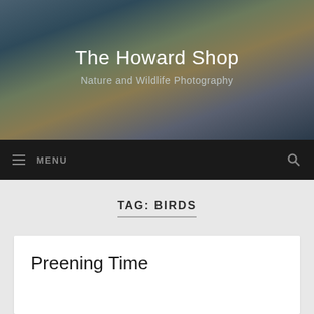[Figure (photo): Header banner showing canyon landscape with mesas and sky, dark blue-grey tones]
The Howard Shop
Nature and Wildlife Photography
MENU
TAG: BIRDS
Preening Time